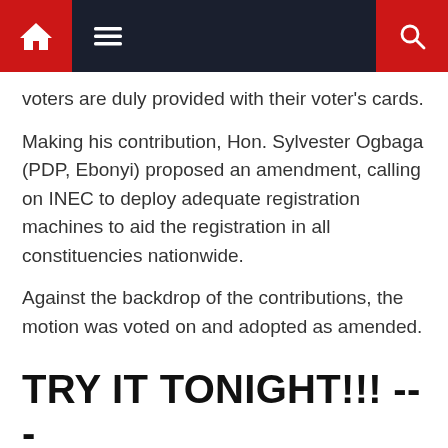Navigation bar with home, menu, and search icons
voters are duly provided with their voter's cards.
Making his contribution, Hon. Sylvester Ogbaga (PDP, Ebonyi) proposed an amendment, calling on INEC to deploy adequate registration machines to aid the registration in all constituencies nationwide.
Against the backdrop of the contributions, the motion was voted on and adopted as amended.
TRY IT TONIGHT!!! ---
Abuja Civil Servant reveals (FREE) secret Fruits that Increased his Manh0d size, gives Stronger Erections and ends